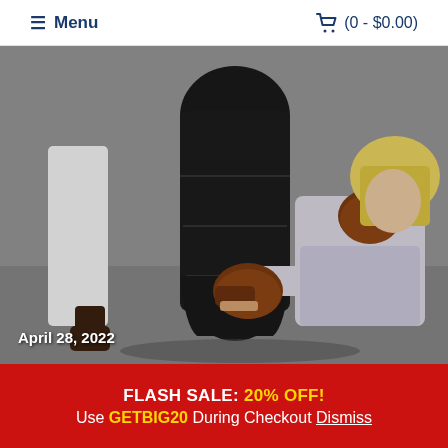≡ Menu   🛒 (0 - $0.00)
[Figure (photo): A woman with blonde hair wearing a white shirt punches a large black freestanding punching bag with brown boxing gloves. A person in a white shirt holds the bag from the other side. The background is a grey concrete wall. Date overlay reads April 28, 2022.]
April 28, 2022
FLASH SALE: 20% OFF! Use GETBIG20 During Checkout Dismiss